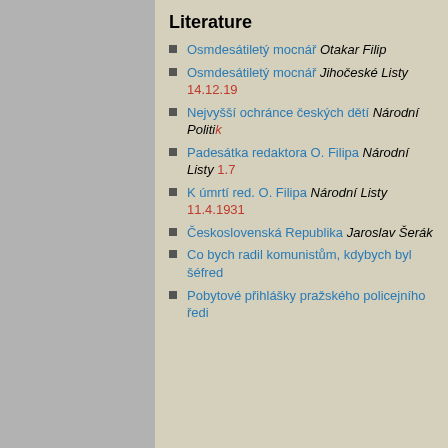Literature
Osmdesátiletý mocnář Otakar Filip
Osmdesátiletý mocnář Jihočeské Listy 14.12.19…
Nejvyšší ochránce českých dětí Národní Politika…
Padesátka redaktora O. Filipa Národní Listy 1.7…
K úmrtí red. O. Filipa Národní Listy 11.4.1931
Československá Republika Jaroslav Šerák
Co bych radil komunistům, kdybych byl šéfred…
Pobytové přihlášky pražského policejního ředi…
[Figure (illustration): Green upward arrow icon (upload symbol)]
*3.6.1761
Wikipedia  da  de  en
Shrapnel is mentioned indirectly through t as Baronesse von Botzenheim and her ent sick-ward of the malingerers at Hradčan progresses his name, or rather his inve several times in various stories from the figh